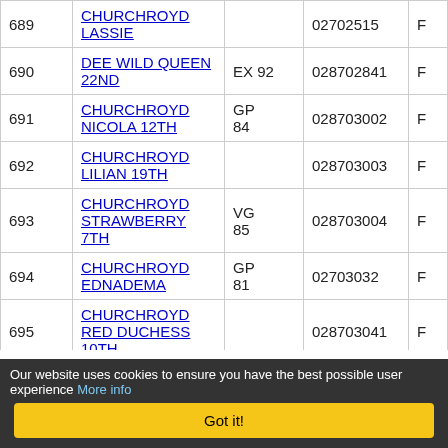| # | Name | Grade | Reg No | Sex |
| --- | --- | --- | --- | --- |
| 689 | CHURCHROYD LASSIE |  | 02702515 | F |
| 690 | DEE WILD QUEEN 22ND | EX 92 | 028702841 | F |
| 691 | CHURCHROYD NICOLA 12TH | GP 84 | 028703002 | F |
| 692 | CHURCHROYD LILIAN 19TH |  | 028703003 | F |
| 693 | CHURCHROYD STRAWBERRY 7TH | VG 85 | 028703004 | F |
| 694 | CHURCHROYD EDNADEMA | GP 81 | 02703032 | F |
| 695 | CHURCHROYD RED DUCHESS 10TH |  | 028703041 | F |
| 696 | CHURCHROYD HEATHER 69TH | GP 82 | 028703038 | F |
Our website uses cookies to ensure you have the best possible user experience More info
Got it!